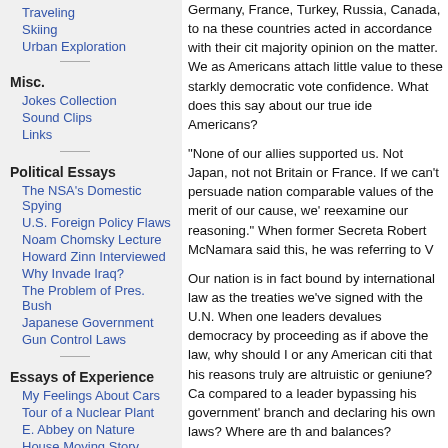Traveling
Skiing
Urban Exploration
Misc.
Jokes Collection
Sound Clips
Links
Political Essays
The NSA's Domestic Spying
U.S. Foreign Policy Flaws
Noam Chomsky Lecture
Howard Zinn Interviewed
Why Invade Iraq?
The Problem of Pres. Bush
Japanese Government
Gun Control Laws
Essays of Experience
My Feelings About Cars
Tour of a Nuclear Plant
E. Abbey on Nature
House Moving Story
A Balloon Ride
Science Essays
Baseball Physics
Germany, France, Turkey, Russia, Canada, to na these countries acted in accordance with their cit majority opinion on the matter. We as Americans attach little value to these starkly democratic vote confidence. What does this say about our true ide Americans?
"None of our allies supported us. Not Japan, not not Britain or France. If we can't persuade nation comparable values of the merit of our cause, we' reexamine our reasoning." When former Secreta Robert McNamara said this, he was referring to V
Our nation is in fact bound by international law as the treaties we've signed with the U.N. When one leaders devalues democracy by proceeding as if above the law, why should I or any American citi that his reasons truly are altruistic or geniune? Ca compared to a leader bypassing his government' branch and declaring his own laws? Where are th and balances?
As I've described in another essay, our justificatio attacking Iraq was dubious. Our national security threatened by Hussein, and virtually no Middle Ea country felt war was necessary at the time for the While many American citizens were tacitly lead to otherwise, deposing Iraq would not hurt Al Qaeda the war had the opposite consequence, as may b many years down the road.